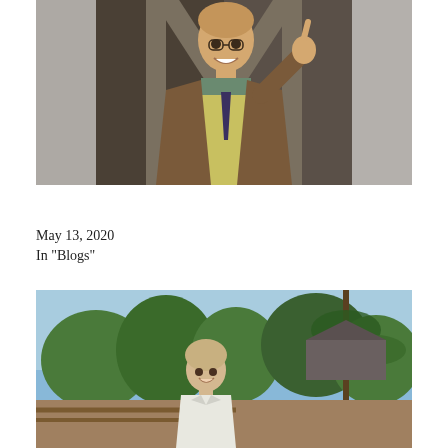[Figure (photo): A smiling man in a brown blazer and yellow sweater vest pointing upward with one finger, standing in front of a geometric background with diagonal lines, vignette effect on sides]
Is it all a dream?
May 13, 2020
In "Blogs"
[Figure (photo): An older woman with light hair wearing a white jacket, standing outdoors in a garden setting with trees and foliage in the background, appears to be a vintage photograph]